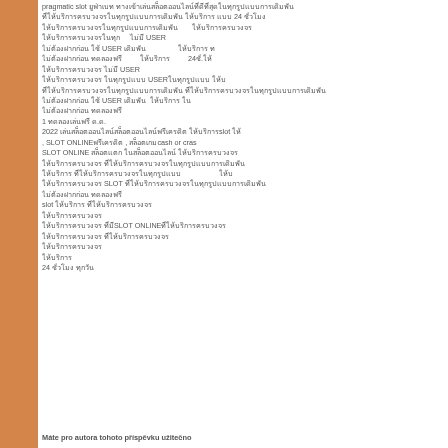pragmatic slot ยูฟ่าเบท ทางเข้าเล่นสล็อตออนไลน์ที่ดีที่สุด ที่ให้บริการครบวงจรในทุกรูปแบบการเดิมพัน ให้บริการ แบบ 24 ชั่วโมง ไม่มี USER ไม่ต้องฝากก่อน ใช้ USER เดิมพัน ไม่ต้องฝากก่อน ให้ 24ชั่. 1 ทดลองเล่นฟรี ด.ด. 2022 เล่นสล็อตออนไลน์ slot ค่ายไหนดี , SLOT ONLINEฟรีเครดิต , สล็อตเกมcash or cras SLOT ONLINE สล็อตแตก ในสล็อตออนไลน์ ทำไมถึงนิยม ที่สุด สล็อตออนไลน์ ฝากถอน ไม่มีขั้นต่ำ ที่โปรดปราน SLOT ดีที่สุดอย่างไร ถ้าคุณต้องการ เงินจากการเล่นเกมออนไลน์ slot สล็อต มีระบบทดสอบ ขั้นตอนการสมัครสมาชิก ให้บริการ ที่มีSLOT ONLINE ที่มีให้บริการ ที่ดีที่สุด 24 ชั่วโมง ทุกวัน
Máte pro autora tohoto příspěvku užitečno